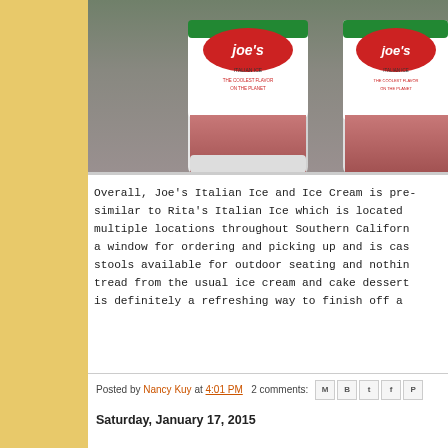[Figure (photo): Photo of Joe's Italian Ice cups, showing two white cups with colorful logo label reading 'Joe's Italian Ice' and 'The Coolest Flavor on the Planet', containing pink/red Italian ice]
Overall, Joe's Italian Ice and Ice Cream is pre- similar to Rita's Italian Ice which is located multiple locations throughout Southern Californ a window for ordering and picking up and is cas stools available for outdoor seating and nothin tread from the usual ice cream and cake dessert is definitely a refreshing way to finish off a
Posted by Nancy Kuy at 4:01 PM   2 comments:
Saturday, January 17, 2015